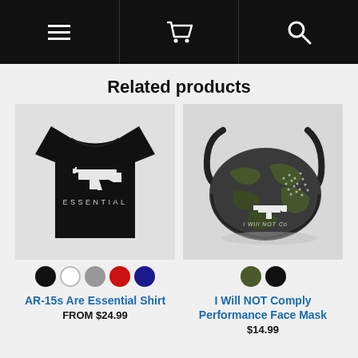Navigation header with menu, cart, and search icons
Related products
[Figure (photo): Black t-shirt with white AR-15 rifle graphic and text 'ESSENTIAL']
Color swatches: black, white, gray, red, blue
AR-15s Are Essential Shirt
FROM $24.99
[Figure (photo): Camouflage performance face mask with AR-15 rifle graphic, American flag stars, and text 'I Will NOT Co[mply]']
Color swatches: dark, black
I Will NOT Comply Performance Face Mask
$14.99